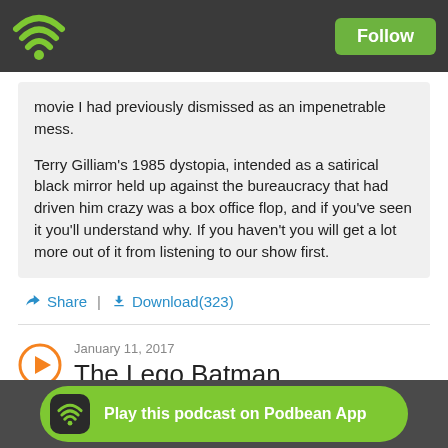Follow
movie I had previously dismissed as an impenetrable mess.

Terry Gilliam's 1985 dystopia, intended as a satirical black mirror held up against the bureaucracy that had driven him crazy was a box office flop, and if you've seen it you'll understand why. If you haven't you will get a lot more out of it from listening to our show first.
Share | Download(323)
January 11, 2017
The Lego Batman
Play this podcast on Podbean App